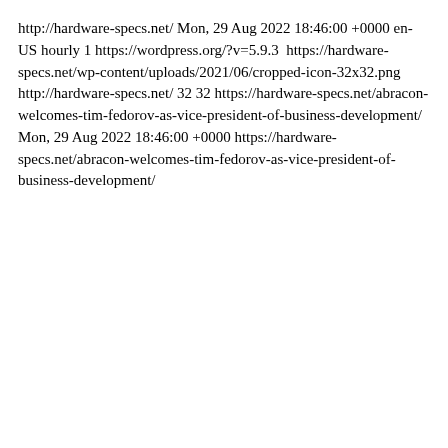http://hardware-specs.net/ Mon, 29 Aug 2022 18:46:00 +0000 en-US hourly 1 https://wordpress.org/?v=5.9.3  https://hardware-specs.net/wp-content/uploads/2021/06/cropped-icon-32x32.png http://hardware-specs.net/ 32 32 https://hardware-specs.net/abracon-welcomes-tim-fedorov-as-vice-president-of-business-development/ Mon, 29 Aug 2022 18:46:00 +0000 https://hardware-specs.net/abracon-welcomes-tim-fedorov-as-vice-president-of-business-development/